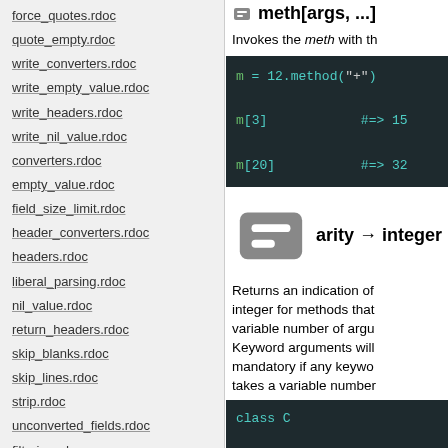force_quotes.rdoc
quote_empty.rdoc
write_converters.rdoc
write_empty_value.rdoc
write_headers.rdoc
write_nil_value.rdoc
converters.rdoc
empty_value.rdoc
field_size_limit.rdoc
header_converters.rdoc
headers.rdoc
liberal_parsing.rdoc
nil_value.rdoc
return_headers.rdoc
skip_blanks.rdoc
skip_lines.rdoc
strip.rdoc
unconverted_fields.rdoc
filtering.rdoc
generating.rdoc
parsing.rdoc
meth[args, ...]
Invokes the meth with th
[Figure (screenshot): Code block showing: m = 12.method("+"), m[3] #=> 15, m[20] #=> 32]
arity → integer
Returns an indication of integer for methods that take variable number of args. Keyword arguments will mandatory if any keyword takes a variable number
[Figure (screenshot): Code block showing: class C, def one; end, def two(a); end, def three(*a);]